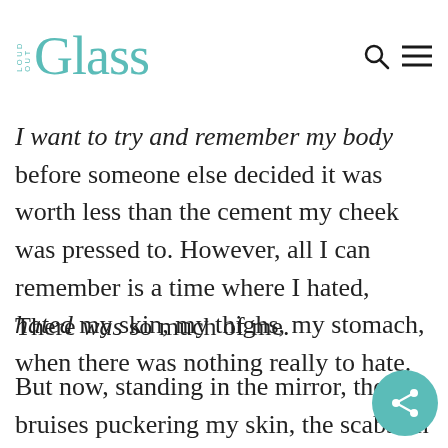Glass
I want to try and remember my body before someone else decided it was worth less than the cement my cheek was pressed to. However, all I can remember is a time where I hated, hated my skin, my thighs, my stomach, when there was nothing really to hate.
There was so much of me.
But now, standing in the mirror, the bruises puckering my skin, the scabs on my lips burning, the invisible feeling of his